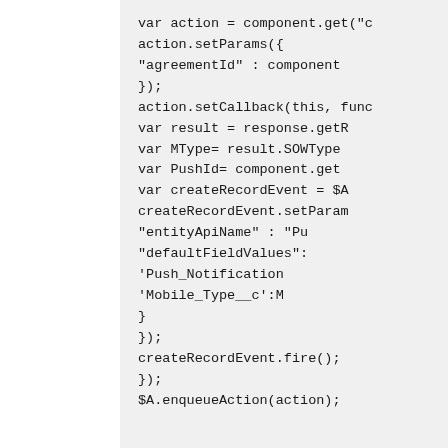var action = component.get("c
    action.setParams({
        "agreementId" : component
    });
    action.setCallback(this, func
        var result = response.getR
        var MType= result.SOWType
        var PushId= component.get
        var createRecordEvent = $A
        createRecordEvent.setParam
            "entityApiName" : "Pu
            "defaultFieldValues":
                'Push_Notification
                'Mobile_Type__c':M
            }
        });
        createRecordEvent.fire();
    });
    $A.enqueueAction(action);